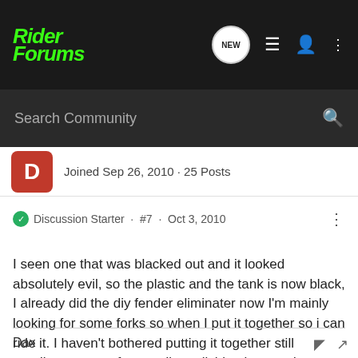Rider Forums
Search Community
Joined Sep 26, 2010 · 25 Posts
Discussion Starter · #7 · Oct 3, 2010
I seen one that was blacked out and it looked absolutely evil, so the plastic and the tank is now black, I already did the diy fender eliminater now I'm mainly looking for some forks so when I put it together so i can ride it. I haven't bothered putting it together still needing parts so for now I'm polishing it up and painting rusty bolts
Dax